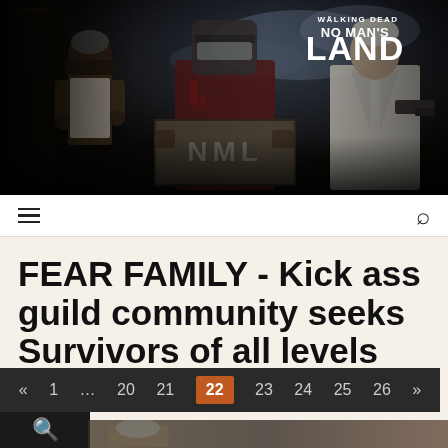[Figure (screenshot): Walking Dead No Man's Land game banner with three characters and NML crate]
FEAR FAMILY - Kick ass guild community seeks Survivors of all levels
[Figure (other): Pagination bar with page numbers: « 1 ... 20 21 22 23 24 25 26 »; page 22 is active/highlighted in orange]
[Figure (other): Search button area with orange magnifying glass icon on dark background, partially visible character image below]